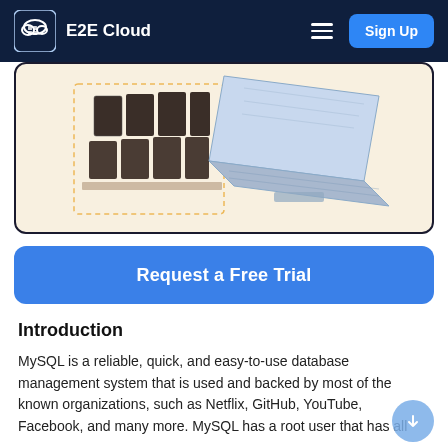E2E Cloud
[Figure (illustration): Isometric illustration of a server rack cluster and a laptop on a beige/cream background, inside a rounded dark-bordered card]
Request a Free Trial
Introduction
MySQL is a reliable, quick, and easy-to-use database management system that is used and backed by most of the known organizations, such as Netflix, GitHub, YouTube, Facebook, and many more. MySQL has a root user that has all